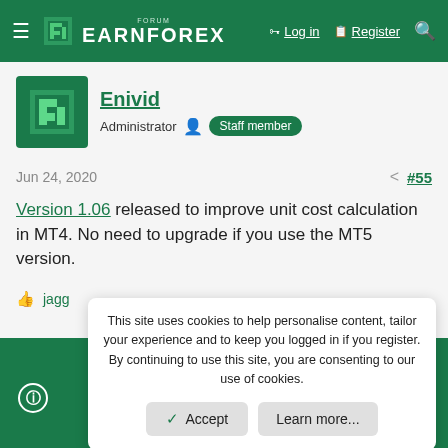FORUM EARNFOREX — Log in | Register
Enivid — Administrator — Staff member
Jun 24, 2020 — #55
Version 1.06 released to improve unit cost calculation in MT4. No need to upgrade if you use the MT5 version.
jagg
This site uses cookies to help personalise content, tailor your experience and to keep you logged in if you register. By continuing to use this site, you are consenting to our use of cookies.